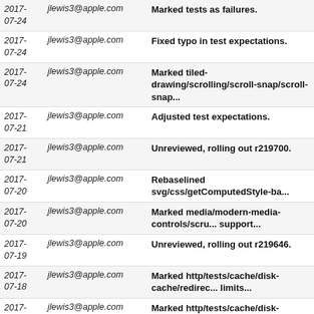| Date | Author | Message |
| --- | --- | --- |
| 2017-07-24 | jlewis3@apple.com | Marked tests as failures. |
| 2017-07-24 | jlewis3@apple.com | Fixed typo in test expectations. |
| 2017-07-24 | jlewis3@apple.com | Marked tiled-drawing/scrolling/scroll-snap/scroll-snap... |
| 2017-07-21 | jlewis3@apple.com | Adjusted test expectations. |
| 2017-07-21 | jlewis3@apple.com | Unreviewed, rolling out r219700. |
| 2017-07-20 | jlewis3@apple.com | Rebaselined svg/css/getComputedStyle-ba... |
| 2017-07-20 | jlewis3@apple.com | Marked media/modern-media-controls/scru... support... |
| 2017-07-19 | jlewis3@apple.com | Unreviewed, rolling out r219646. |
| 2017-07-18 | jlewis3@apple.com | Marked http/tests/cache/disk-cache/redirec... limits... |
| 2017-07-18 | jlewis3@apple.com | Marked http/tests/cache/disk-cache/disk-ca... vary... |
| 2017-07-18 | jlewis3@apple.com | Unreviewed, rolling out r219610. |
| 2017-07-18 | jlewis3@apple.com | Rebaseline inspector/model/remote-object... |
| 2017-07-17 | jlewis3@apple.com | Fixed test expectations after r219518. |
| 2017-07-17 | jlewis3@apple.com | Fixed test expectations after r219518. |